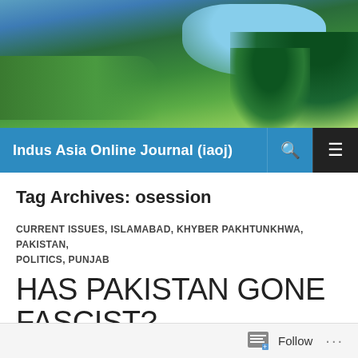[Figure (photo): Landscape photo of green hills with trees and blue sky]
Indus Asia Online Journal (iaoj)
Tag Archives: osession
CURRENT ISSUES, ISLAMABAD, KHYBER PAKHTUNKHWA, PAKISTAN, POLITICS, PUNJAB
HAS PAKISTAN GONE FASCIST?
10/05/2012  LEAVE A COMMENT
Follow